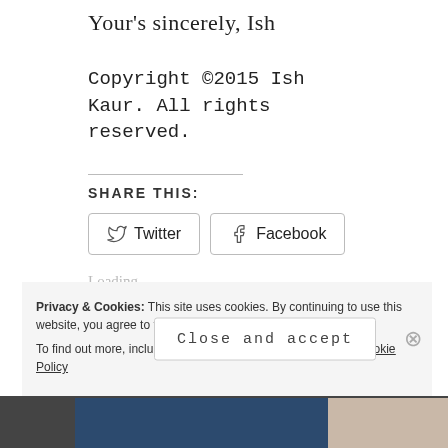Your's sincerely,  Ish
Copyright ©2015 Ish Kaur. All rights reserved.
SHARE THIS:
Loading...
Privacy & Cookies: This site uses cookies. By continuing to use this website, you agree to their use.
To find out more, including how to control cookies, see here: Cookie Policy
Close and accept